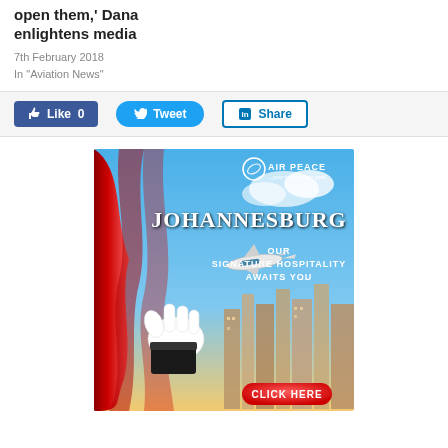open them,' Dana enlightens media
7th February 2018
In "Aviation News"
Like 0  Tweet  Share
[Figure (illustration): Air Peace airline advertisement for Johannesburg route. Shows red theater curtain being drawn back by a gloved hand to reveal a blue sky cityscape with an airplane flying over Johannesburg skyline. Text reads: JOHANNESBURG OUR SIGNATURE HOSPITALITY AWAITS YOU. Red CLICK HERE button at bottom. Air Peace logo with tagline your service, our goal in top right.]